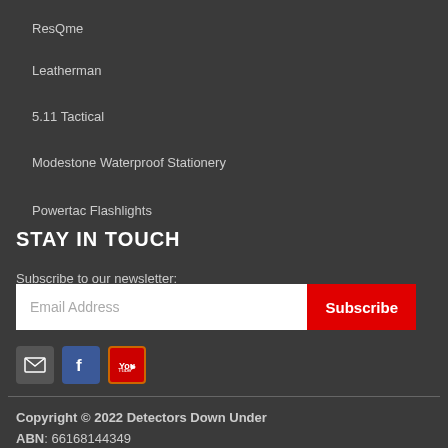ResQme
Leatherman
5.11 Tactical
Modestone Waterproof Stationery
Powertac Flashlights
STAY IN TOUCH
Subscribe to our newsletter:
Email Address
Subscribe
[Figure (infographic): Social media icons: email (envelope), Facebook, YouTube]
Copyright © 2022 Detectors Down Under
ABN: 66168144349